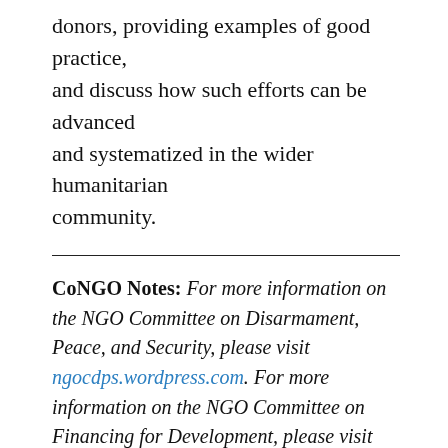donors, providing examples of good practice, and discuss how such efforts can be advanced and systematized in the wider humanitarian community.
CoNGO Notes: For more information on the NGO Committee on Disarmament, Peace, and Security, please visit ngocdps.wordpress.com. For more information on the NGO Committee on Financing for Development, please visit ngosonffd.org. For more information on the NGO Committee on Migration, please visit ngo-migration.org.